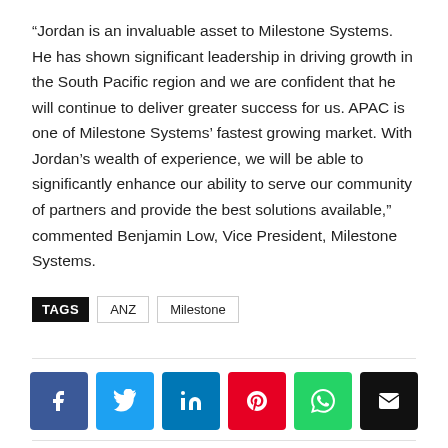“Jordan is an invaluable asset to Milestone Systems. He has shown significant leadership in driving growth in the South Pacific region and we are confident that he will continue to deliver greater success for us. APAC is one of Milestone Systems’ fastest growing market. With Jordan’s wealth of experience, we will be able to  significantly enhance our ability to serve our community of partners and provide the best solutions available,” commented Benjamin Low, Vice President, Milestone Systems.
TAGS  ANZ  Milestone
[Figure (infographic): Social sharing buttons: Facebook (dark blue), Twitter (light blue), LinkedIn (dark blue), Pinterest (red), WhatsApp (green), Email (black)]